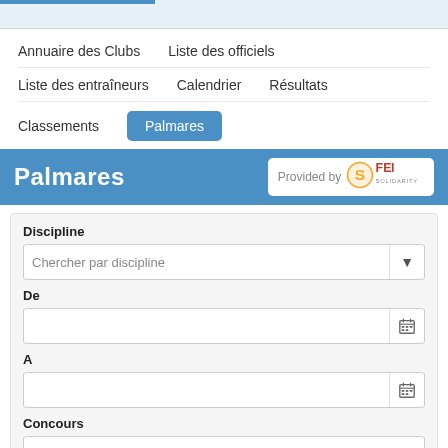Annuaire des Clubs
Liste des officiels
Liste des entraîneurs
Calendrier
Résultats
Classements
Palmares
Palmares
[Figure (logo): FEI Solidarity logo with text 'Provided by']
Discipline
Chercher par discipline
De
A
Concours